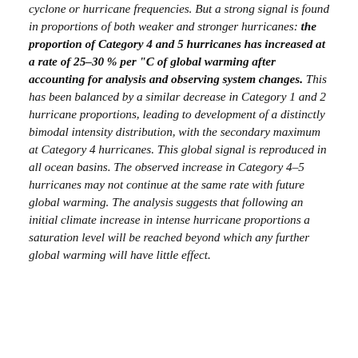cyclone or hurricane frequencies. But a strong signal is found in proportions of both weaker and stronger hurricanes: the proportion of Category 4 and 5 hurricanes has increased at a rate of 25–30 % per "C of global warming after accounting for analysis and observing system changes. This has been balanced by a similar decrease in Category 1 and 2 hurricane proportions, leading to development of a distinctly bimodal intensity distribution, with the secondary maximum at Category 4 hurricanes. This global signal is reproduced in all ocean basins. The observed increase in Category 4–5 hurricanes may not continue at the same rate with future global warming. The analysis suggests that following an initial climate increase in intense hurricane proportions a saturation level will be reached beyond which any further global warming will have little effect.